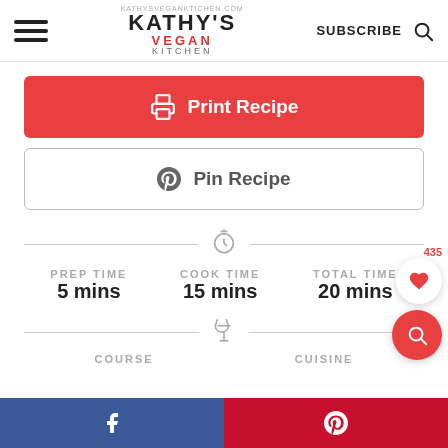Kathy's Vegan Kitchen — SUBSCRIBE
[Figure (screenshot): Print Recipe button (red background with printer icon)]
[Figure (screenshot): Pin Recipe button (white with border and Pinterest icon)]
PREP TIME 5 mins   COOK TIME 15 mins   TOTAL TIME 20 mins
COURSE   CUISINE
Facebook share button | Pinterest share button